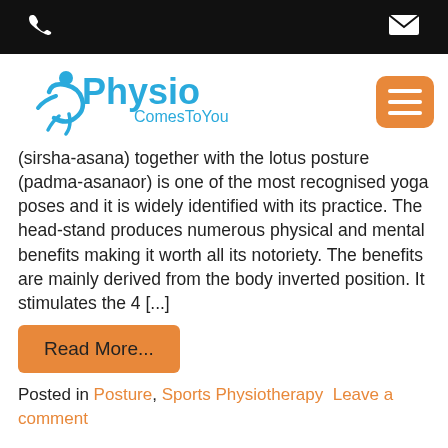PhysioComesToYou — top navigation bar with phone and email icons
[Figure (logo): PhysioComesToYou logo with stylized figure and blue text, plus orange hamburger menu button]
(sirsha-asana) together with the lotus posture (padma-asanaor) is one of the most recognised yoga poses and it is widely identified with its practice. The head-stand produces numerous physical and mental benefits making it worth all its notoriety. The benefits are mainly derived from the body inverted position. It stimulates the 4 [...]
Read More...
Posted in Posture, Sports Physiotherapy  Leave a comment